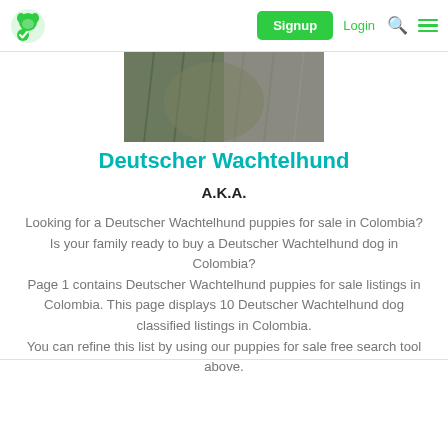Signup | Login
[Figure (photo): Close-up photo of a Deutscher Wachtelhund dog with shaggy brown/dark fur]
Deutscher Wachtelhund
A.K.A.
Looking for a Deutscher Wachtelhund puppies for sale in Colombia? Is your family ready to buy a Deutscher Wachtelhund dog in Colombia? Page 1 contains Deutscher Wachtelhund puppies for sale listings in Colombia. This page displays 10 Deutscher Wachtelhund dog classified listings in Colombia. You can refine this list by using our puppies for sale free search tool above.